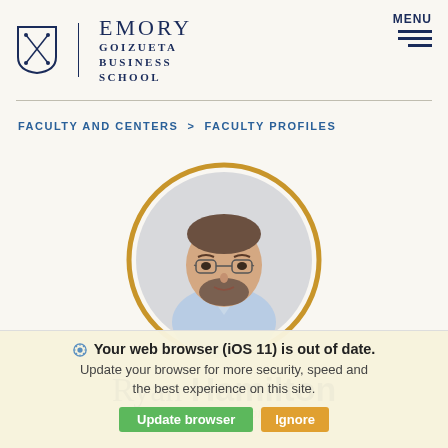EMORY | GOIZUETA BUSINESS SCHOOL
FACULTY AND CENTERS > FACULTY PROFILES
[Figure (photo): Circular portrait photo of Ryan Hamilton, a man with glasses and a beard wearing a light blue button-up shirt, framed with a gold/yellow circular border]
Ryan Hamilton
Associate Professor of Marketing
Your web browser (iOS 11) is out of date. Update your browser for more security, speed and the best experience on this site.